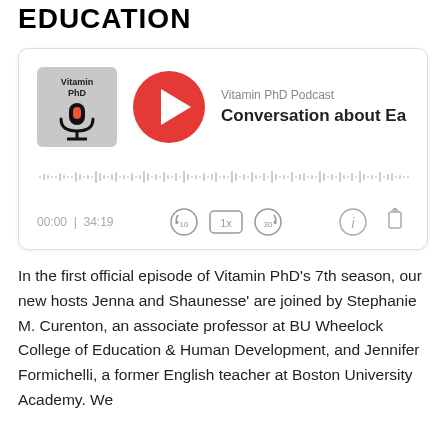EDUCATION
[Figure (screenshot): Embedded podcast player for Vitamin PhD Podcast showing episode 'Conversation about Ea...' with play button, waveform, timestamp 00:00 | 34:19, and playback controls]
In the first official episode of Vitamin PhD's 7th season, our new hosts Jenna and Shaunesse' are joined by Stephanie M. Curenton, an associate professor at BU Wheelock College of Education & Human Development, and Jennifer Formichelli, a former English teacher at Boston University Academy. We